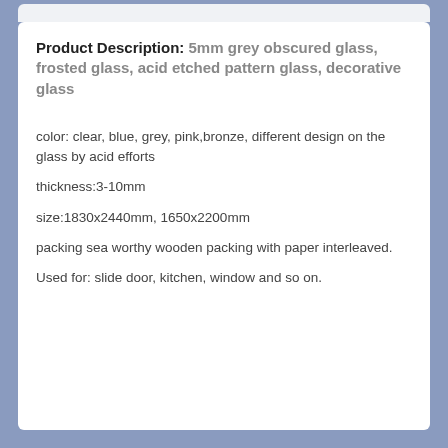Product Description: 5mm grey obscured glass, frosted glass, acid etched pattern glass, decorative glass
color: clear, blue, grey, pink,bronze, different design on the glass by acid efforts
thickness:3-10mm
size:1830x2440mm, 1650x2200mm
packing sea worthy wooden packing with paper interleaved.
Used for: slide door, kitchen, window and so on.